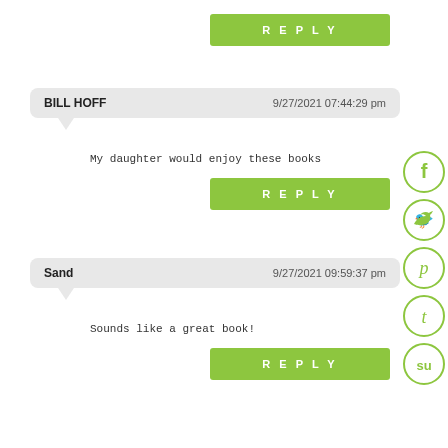[Figure (other): Green REPLY button at top]
BILL HOFF   9/27/2021 07:44:29 pm
My daughter would enjoy these books
[Figure (other): Green REPLY button for Bill Hoff comment]
Sand   9/27/2021 09:59:37 pm
Sounds like a great book!
[Figure (other): Green REPLY button for Sand comment]
[Figure (other): Social media share icons: Facebook, Twitter, Pinterest, Tumblr, StumbleUpon]